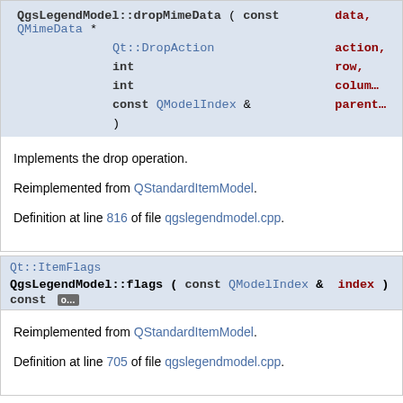QgsLegendModel::dropMimeData ( const QMimeData * data, Qt::DropAction action, int row, int column, const QModelIndex & parent )
Implements the drop operation.
Reimplemented from QStandardItemModel.
Definition at line 816 of file qgslegendmodel.cpp.
Qt::ItemFlags
QgsLegendModel::flags ( const QModelIndex & index ) const [override]
Reimplemented from QStandardItemModel.
Definition at line 705 of file qgslegendmodel.cpp.